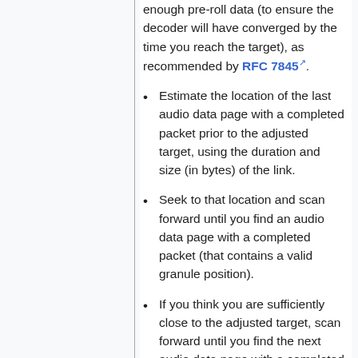enough pre-roll data (to ensure the decoder will have converged by the time you reach the target), as recommended by RFC 7845.
Estimate the location of the last audio data page with a completed packet prior to the adjusted target, using the duration and size (in bytes) of the link.
Seek to that location and scan forward until you find an audio data page with a completed packet (that contains a valid granule position).
If you think you are sufficiently close to the adjusted target, scan forward until you find the next audio data page with a completed packet.
If the adjusted target lies between the first audio data page with a completed packet you found and the